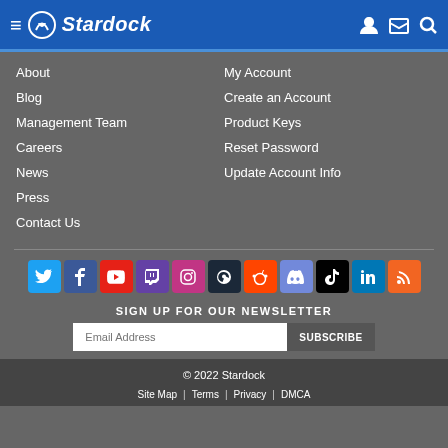Stardock
About
Blog
Management Team
Careers
News
Press
Contact Us
My Account
Create an Account
Product Keys
Reset Password
Update Account Info
[Figure (infographic): Social media icons row: Twitter, Facebook, YouTube, Twitch, Instagram, Steam, Reddit, Discord, TikTok, LinkedIn, RSS]
SIGN UP FOR OUR NEWSLETTER
Email Address
SUBSCRIBE
© 2022 Stardock | Site Map | Terms | Privacy | DMCA